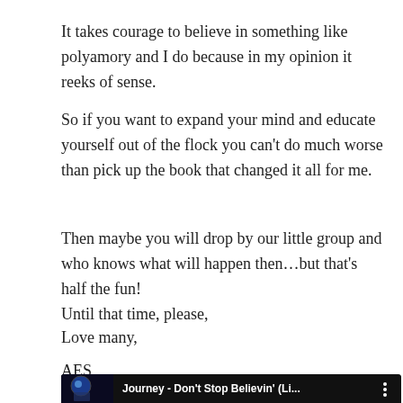It takes courage to believe in something like polyamory and I do because in my opinion it reeks of sense.
So if you want to expand your mind and educate yourself out of the flock you can't do much worse than pick up the book that changed it all for me.
Then maybe you will drop by our little group and who knows what will happen then…but that's half the fun!
Until that time, please,
Love many,
AES
[Figure (screenshot): YouTube video embed bar with dark background showing 'Journey - Don't Stop Believin' (Li...' with thumbnail of performers and three-dot menu icon]